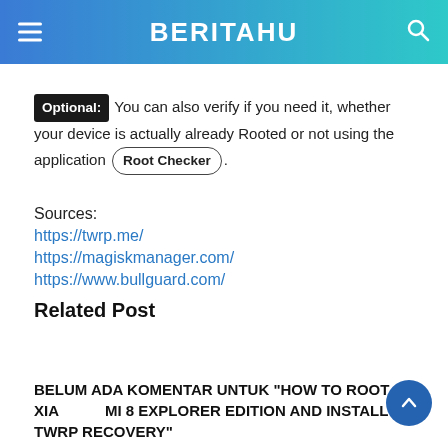BERITAHU
Optional: You can also verify if you need it, whether your device is actually already Rooted or not using the application Root Checker.
Sources:
https://twrp.me/
https://magiskmanager.com/
https://www.bullguard.com/
Related Post
BELUM ADA KOMENTAR UNTUK "HOW TO ROOT XIAOMI MI 8 EXPLORER EDITION AND INSTALL TWRP RECOVERY"